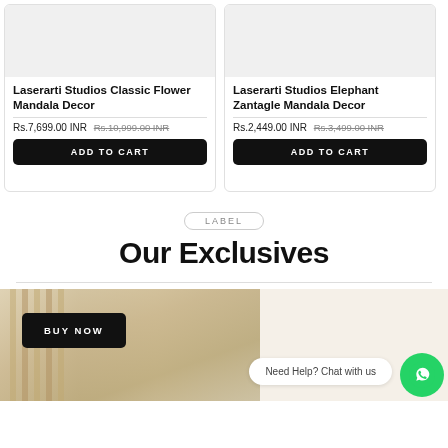Laserarti Studios Classic Flower Mandala Decor
Rs.7,699.00 INR Rs.10,999.00 INR
ADD TO CART
Laserarti Studios Elephant Zantagle Mandala Decor
Rs.2,449.00 INR Rs.3,499.00 INR
ADD TO CART
LABEL
Our Exclusives
[Figure (photo): Partial product image at bottom of page with decorative items]
BUY NOW
Need Help? Chat with us